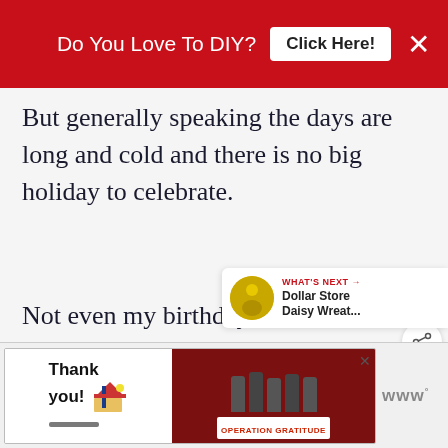Do You Love To DIY? Click Here! ×
But generally speaking the days are long and cold and there is no big holiday to celebrate.
Not even my birthday.
[Figure (screenshot): Like (heart) button, red circle with white heart icon]
[Figure (screenshot): Share button, white circle with share icon]
[Figure (screenshot): What's Next widget showing Dollar Store Daisy Wreat... with thumbnail]
[Figure (screenshot): Bottom advertisement: Thank you Operation Gratitude ad with firefighters image]